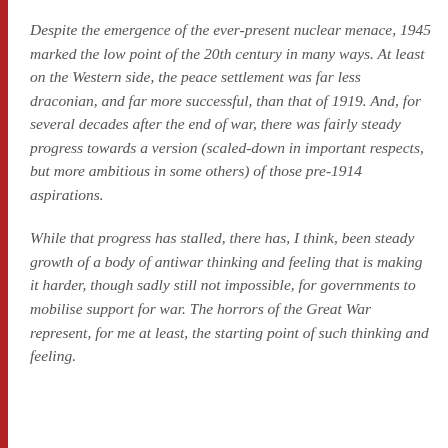Despite the emergence of the ever-present nuclear menace, 1945 marked the low point of the 20th century in many ways. At least on the Western side, the peace settlement was far less draconian, and far more successful, than that of 1919. And, for several decades after the end of war, there was fairly steady progress towards a version (scaled-down in important respects, but more ambitious in some others) of those pre-1914 aspirations.
While that progress has stalled, there has, I think, been steady growth of a body of antiwar thinking and feeling that is making it harder, though sadly still not impossible, for governments to mobilise support for war. The horrors of the Great War represent, for me at least, the starting point of such thinking and feeling.